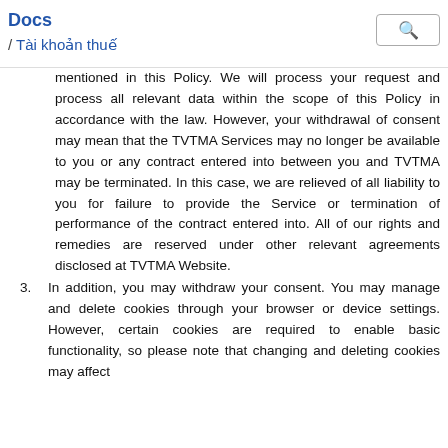Docs / Tài khoản thuế
mentioned in this Policy. We will process your request and process all relevant data within the scope of this Policy in accordance with the law. However, your withdrawal of consent may mean that the TVTMA Services may no longer be available to you or any contract entered into between you and TVTMA may be terminated. In this case, we are relieved of all liability to you for failure to provide the Service or termination of performance of the contract entered into. All of our rights and remedies are reserved under other relevant agreements disclosed at TVTMA Website.
3. In addition, you may withdraw your consent. You may manage and delete cookies through your browser or device settings. However, certain cookies are required to enable basic functionality, so please note that changing and deleting cookies may affect